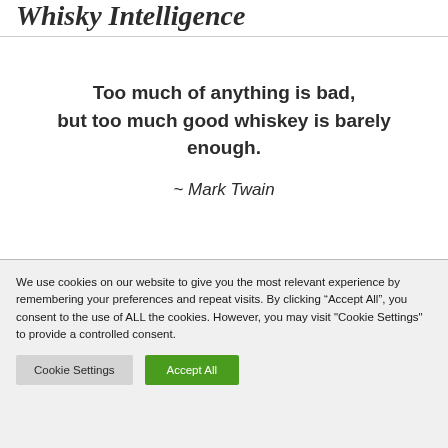Whisky Intelligence
Too much of anything is bad, but too much good whiskey is barely enough.
~ Mark Twain
We use cookies on our website to give you the most relevant experience by remembering your preferences and repeat visits. By clicking “Accept All”, you consent to the use of ALL the cookies. However, you may visit "Cookie Settings" to provide a controlled consent.